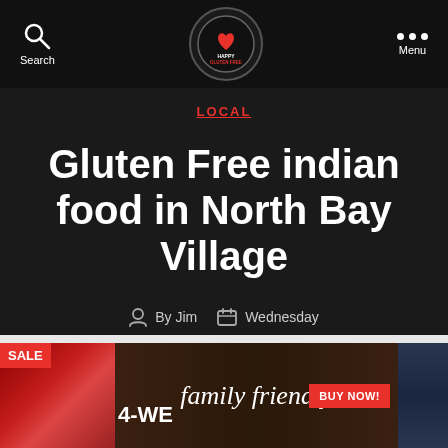Search | Happy Gluten Free | Menu
LOCAL
Gluten Free indian food in North Bay Village
By Jim  Wednesday
[Figure (screenshot): Bottom advertisement banner showing SALE badge, 4-WE text, family friendly text, and BUY NOW button]